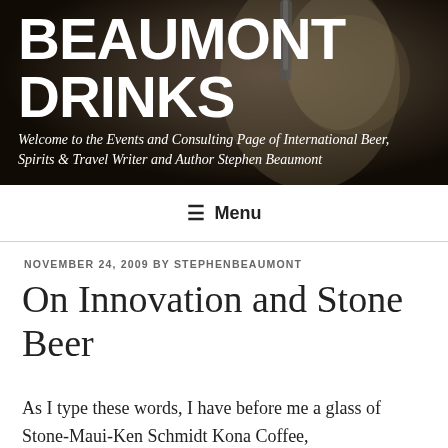[Figure (photo): Dark background photo of beer being poured into a glass, serving as website header background.]
BEAUMONT DRINKS
Welcome to the Events and Consulting Page of International Beer, Spirits & Travel Writer and Author Stephen Beaumont
≡ Menu
NOVEMBER 24, 2009 BY STEPHENBEAUMONT
On Innovation and Stone Beer
As I type these words, I have before me a glass of Stone-Maui-Ken Schmidt Kona Coffee,